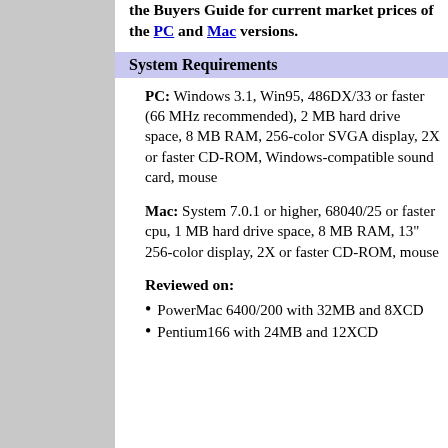the Buyers Guide for current market prices of the PC and Mac versions.
System Requirements
PC: Windows 3.1, Win95, 486DX/33 or faster (66 MHz recommended), 2 MB hard drive space, 8 MB RAM, 256-color SVGA display, 2X or faster CD-ROM, Windows-compatible sound card, mouse
Mac: System 7.0.1 or higher, 68040/25 or faster cpu, 1 MB hard drive space, 8 MB RAM, 13" 256-color display, 2X or faster CD-ROM, mouse
Reviewed on:
PowerMac 6400/200 with 32MB and 8XCD
Pentium166 with 24MB and 12XCD